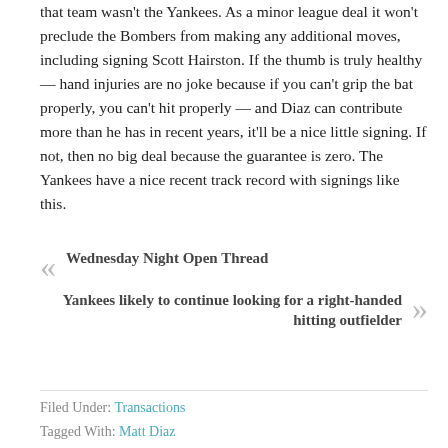that team wasn't the Yankees. As a minor league deal it won't preclude the Bombers from making any additional moves, including signing Scott Hairston. If the thumb is truly healthy — hand injuries are no joke because if you can't grip the bat properly, you can't hit properly — and Diaz can contribute more than he has in recent years, it'll be a nice little signing. If not, then no big deal because the guarantee is zero. The Yankees have a nice recent track record with signings like this.
« Wednesday Night Open Thread
Yankees likely to continue looking for a right-handed hitting outfielder »
Filed Under: Transactions
Tagged With: Matt Diaz